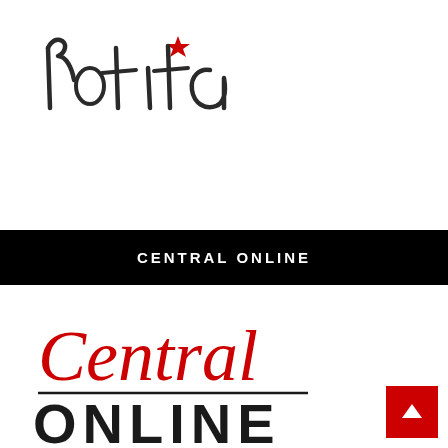[Figure (logo): Rotita brand logo in handwritten/script style black lettering with a red star above the letter i]
CENTRAL ONLINE
[Figure (logo): Central Online logo with 'Central' in red cursive script above a horizontal line and 'ONLINE' in large black block letters below]